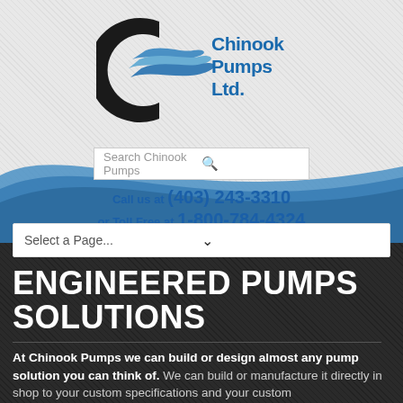[Figure (logo): Chinook Pumps Ltd. logo — black C shape with blue swoosh lines and bold blue text 'Chinook Pumps Ltd.']
Search Chinook Pumps
Call us at (403) 243-3310
or Toll Free at 1-800-784-4324
Select a Page...
ENGINEERED PUMPS SOLUTIONS
At Chinook Pumps we can build or design almost any pump solution you can think of. We can build or manufacture it directly in shop to your custom specifications and your custom